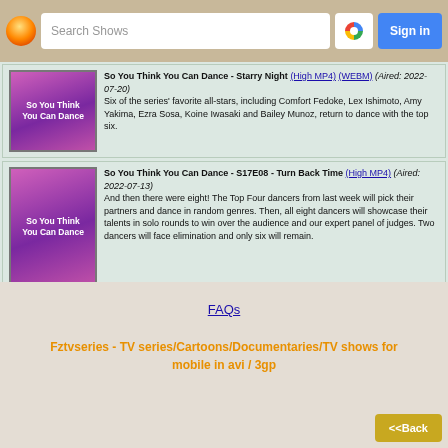Search Shows | Sign in
So You Think You Can Dance - Starry Night (High MP4) (WEBM) (Aired: 2022-07-20) Six of the series' favorite all-stars, including Comfort Fedoke, Lex Ishimoto, Amy Yakima, Ezra Sosa, Koine Iwasaki and Bailey Munoz, return to dance with the top six.
So You Think You Can Dance - S17E08 - Turn Back Time (High MP4) (Aired: 2022-07-13) And then there were eight! The Top Four dancers from last week will pick their partners and dance in random genres. Then, all eight dancers will showcase their talents in solo rounds to win over the audience and our expert panel of judges. Two dancers will face elimination and only six will remain.
FAQs
Fztvseries - TV series/Cartoons/Documentaries/TV shows for mobile in avi / 3gp